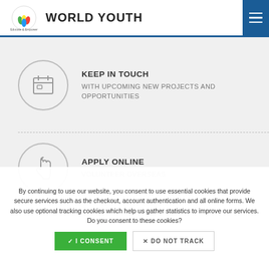WORLD YOUTH
KEEP IN TOUCH
WITH UPCOMING NEW PROJECTS AND OPPORTUNITIES
APPLY ONLINE
VOLUNTEER OVERSEAS
By continuing to use our website, you consent to use essential cookies that provide secure services such as the checkout, account authentication and all online forms. We also use optional tracking cookies which help us gather statistics to improve our services. Do you consent to these cookies?